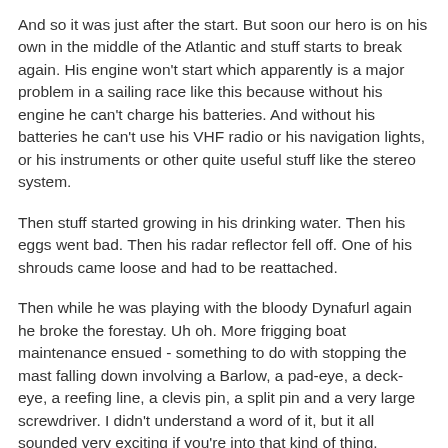And so it was just after the start. But soon our hero is on his own in the middle of the Atlantic and stuff starts to break again. His engine won't start which apparently is a major problem in a sailing race like this because without his engine he can't charge his batteries. And without his batteries he can't use his VHF radio or his navigation lights, or his instruments or other quite useful stuff like the stereo system.
Then stuff started growing in his drinking water. Then his eggs went bad. Then his radar reflector fell off. One of his shrouds came loose and had to be reattached.
Then while he was playing with the bloody Dynafurl again he broke the forestay. Uh oh. More frigging boat maintenance ensued - something to do with stopping the mast falling down involving a Barlow, a pad-eye, a deck-eye, a reefing line, a clevis pin, a split pin and a very large screwdriver. I didn't understand a word of it, but it all sounded very exciting if you're into that kind of thing.
Eventually our hero reaches Newport and crosses the finish line. Phew!